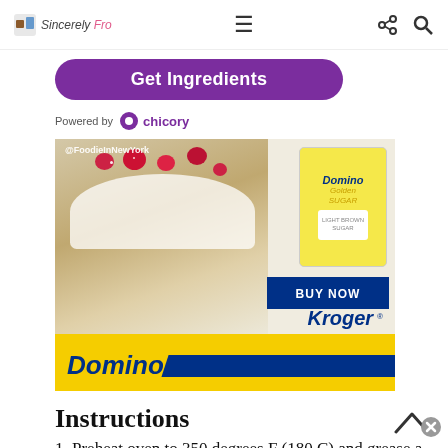Sincerely Fro [logo] [hamburger menu] [share icon] [search icon]
Get Ingredients
Powered by chicory
[Figure (photo): Domino Sugar advertisement showing a raspberry cream roll cake with Domino Golden Sugar bag, BUY NOW button, and Kroger logo]
Instructions
Preheat oven to 350 degrees F (180 C) and grease a 12-count cupcake pan with oil or line with cupcake liners. In bowl of stand mixer, cream butter and sugar